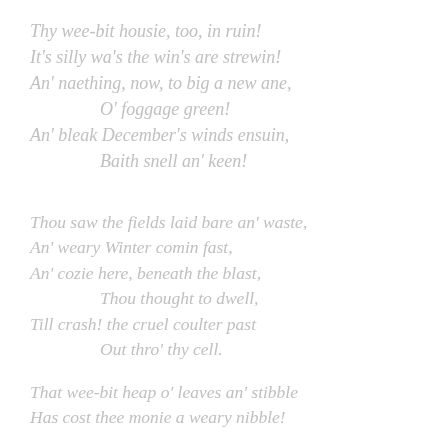Thy wee-bit housie, too, in ruin!
It's silly wa's the win's are strewin!
An' naething, now, to big a new ane,
        O' foggage green!
An' bleak December's winds ensuin,
        Baith snell an' keen!
Thou saw the fields laid bare an' waste,
An' weary Winter comin fast,
An' cozie here, beneath the blast,
        Thou thought to dwell,
Till crash! the cruel coulter past
        Out thro' thy cell.
That wee-bit heap o' leaves an' stibble
Has cost thee monie a weary nibble!